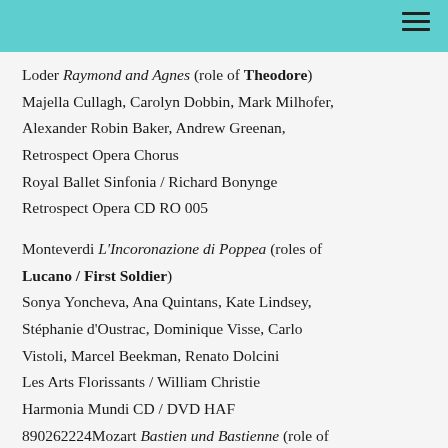Loder Raymond and Agnes (role of Theodore)
Majella Cullagh, Carolyn Dobbin, Mark Milhofer, Alexander Robin Baker, Andrew Greenan, Retrospect Opera Chorus
Royal Ballet Sinfonia / Richard Bonynge
Retrospect Opera CD RO 005
Monteverdi L'Incoronazione di Poppea (roles of Lucano / First Soldier)
Sonya Yoncheva, Ana Quintans, Kate Lindsey, Stéphanie d'Oustrac, Dominique Visse, Carlo Vistoli, Marcel Beekman, Renato Dolcini
Les Arts Florissants / William Christie
Harmonia Mundi CD / DVD HAF 890262224Mozart Bastien und Bastienne (role of Bastien)